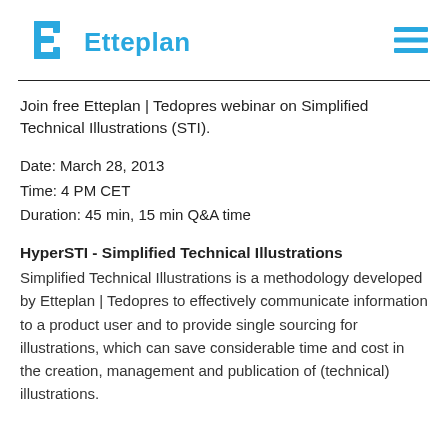[Figure (logo): Etteplan logo with blue stylized icon and blue text 'Etteplan', plus a hamburger menu icon on the right]
Join free Etteplan | Tedopres webinar on Simplified Technical Illustrations (STI).
Date: March 28, 2013
Time: 4 PM CET
Duration: 45 min, 15 min Q&A time
HyperSTI - Simplified Technical Illustrations
Simplified Technical Illustrations is a methodology developed by Etteplan | Tedopres to effectively communicate information to a product user and to provide single sourcing for illustrations, which can save considerable time and cost in the creation, management and publication of (technical) illustrations.